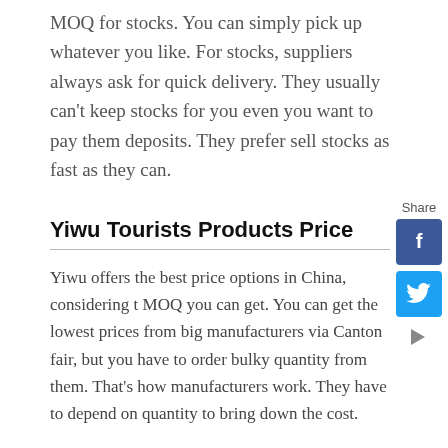MOQ for stocks. You can simply pick up whatever you like. For stocks, suppliers always ask for quick delivery. They usually can't keep stocks for you even you want to pay them deposits. They prefer sell stocks as fast as they can.
Yiwu Tourists Products Price
Yiwu offers the best price options in China, considering t MOQ you can get. You can get the lowest prices from big manufacturers via Canton fair, but you have to order bulky quantity from them. That's how manufacturers work. They have to depend on quantity to bring down the cost.
Yiwu price strength is built on the fact that most of the factories supplying Yiwu market are quiet small. They're